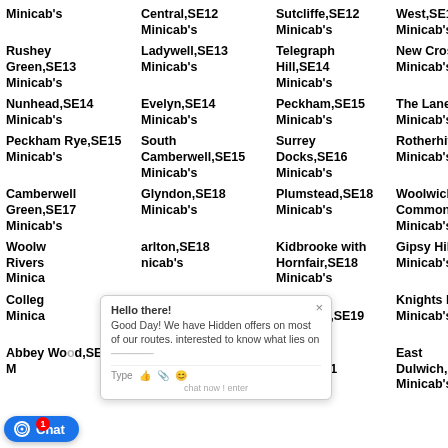Minicab's
Central,SE12 Minicab's
Sutcliffe,SE12 Minicab's
West,SE12 Minicab's
Rushey Green,SE13 Minicab's
Ladywell,SE13 Minicab's
Telegraph Hill,SE14 Minicab's
New Cross,SE14 Minicab's
Nunhead,SE14 Minicab's
Evelyn,SE14 Minicab's
Peckham,SE15 Minicab's
The Lane,SE15 Minicab's
Peckham Rye,SE15 Minicab's
South Camberwell,SE15 Minicab's
Surrey Docks,SE16 Minicab's
Rotherhithe,SE Minicab's
Camberwell Green,SE17 Minicab's
Glyndon,SE18 Minicab's
Plumstead,SE18 Minicab's
Woolwich Common,SE18 Minicab's
Woolwich Rivers... Minicab's
...arlton,SE18 Minicab's
Kidbrooke with Hornfair,SE18 Minicab's
Gipsy Hill,SE19 Minicab's
Colleg... Minicab's
...ystal ...lace,SE19 Minicab's
South Norwood,SE19 Minicab's
Knights Hill,SE1 Minicab's
Abbey Wood,SE2 Minicab's
...amesmead Moorings,SE2 Minicab's
Thurlow Park,SE21 Minicab's
East Dulwich,SE22 Minicab's